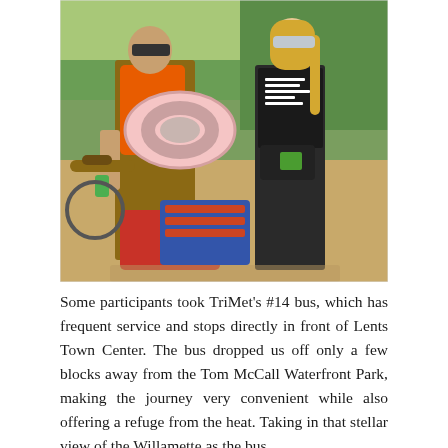[Figure (photo): Two people standing outdoors in a park on a sunny day. One person on the left is wearing an orange life vest and holding a large pink inflatable donut ring and a green can. They have tattoos visible on their arm. The person on the right is a blonde woman wearing sunglasses, a dark t-shirt with white text, dark pants, and a black fanny pack. Between them on the ground are bags including a red backpack and a bicycle is partially visible on the left. Trees and dry grass are visible in the background.]
Some participants took TriMet's #14 bus, which has frequent service and stops directly in front of Lents Town Center. The bus dropped us off only a few blocks away from the Tom McCall Waterfront Park, making the journey very convenient while also offering a refuge from the heat. Taking in that stellar view of the Willamette as the bus